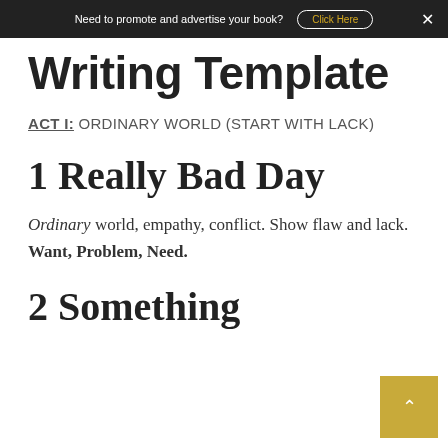Need to promote and advertise your book? Click Here ×
Writing Template
ACT I: ORDINARY WORLD (START WITH LACK)
1 Really Bad Day
Ordinary world, empathy, conflict. Show flaw and lack. Want, Problem, Need.
2 Something